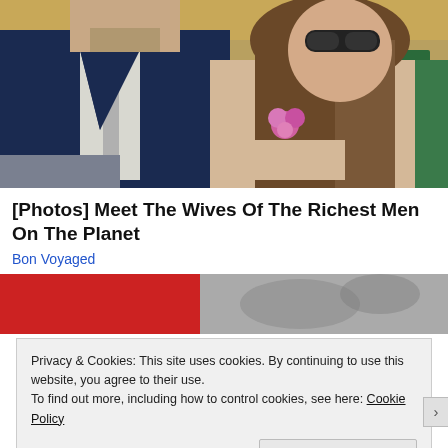[Figure (photo): A man in a dark navy suit with a light tie seated next to a woman with long brown hair wearing a beige lace outfit with a pink flower corsage, both seated at what appears to be a sporting event (Wimbledon). The man's face is partially cut off at top.]
[Photos] Meet The Wives Of The Richest Men On The Planet
Bon Voyaged
[Figure (photo): Partially visible second photo at bottom, appears to show a red background with blurred figures.]
Privacy & Cookies: This site uses cookies. By continuing to use this website, you agree to their use.
To find out more, including how to control cookies, see here: Cookie Policy